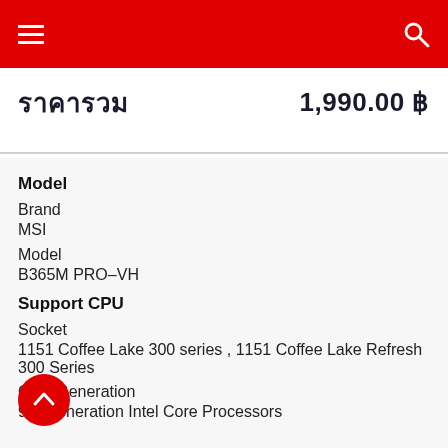ราคารวม  1,990.00 ฿
Model
Brand
MSI
Model
B365M PRO-VH
Support CPU
Socket
1151 Coffee Lake 300 series , 1151 Coffee Lake Refresh 300 Series
CPU Generation
9th Generation Intel Core Processors